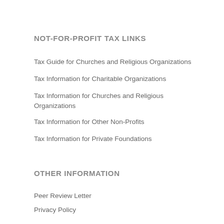NOT-FOR-PROFIT TAX LINKS
Tax Guide for Churches and Religious Organizations
Tax Information for Charitable Organizations
Tax Information for Churches and Religious Organizations
Tax Information for Other Non-Profits
Tax Information for Private Foundations
OTHER INFORMATION
Peer Review Letter
Privacy Policy